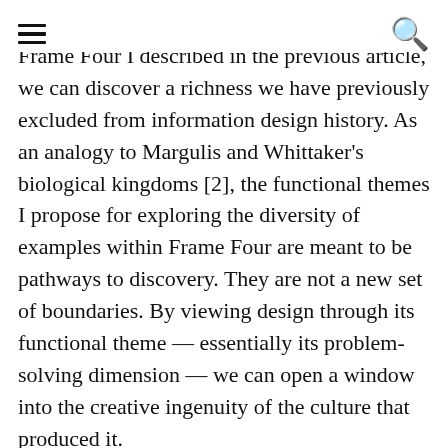☰  🔍
Frame Four I described in the previous article, we can discover a richness we have previously excluded from information design history. As an analogy to Margulis and Whittaker's biological kingdoms [2], the functional themes I propose for exploring the diversity of examples within Frame Four are meant to be pathways to discovery. They are not a new set of boundaries. By viewing design through its functional theme — essentially its problem-solving dimension — we can open a window into the creative ingenuity of the culture that produced it.